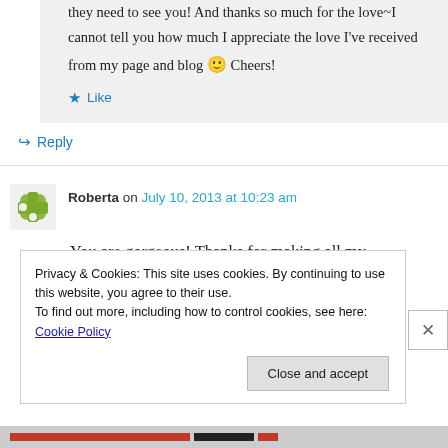they need to see you! And thanks so much for the love~I cannot tell you how much I appreciate the love I've received from my page and blog 🙂 Cheers!
★ Like
↪ Reply
Roberta on July 10, 2013 at 10:23 am
You are gorgeous! Thanks for making all my
Privacy & Cookies: This site uses cookies. By continuing to use this website, you agree to their use.
To find out more, including how to control cookies, see here: Cookie Policy
Close and accept